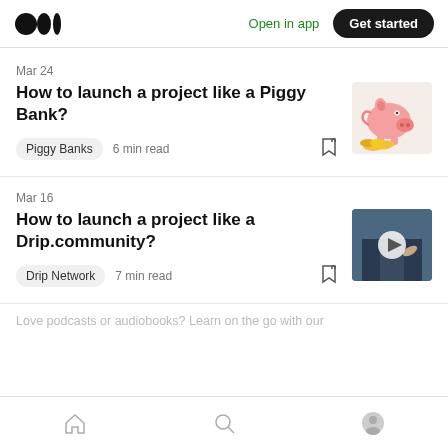Medium logo | Open in app | Get started
Mar 24
How to launch a project like a Piggy Bank?
[Figure (illustration): Pink piggy bank with gold coins]
Piggy Banks  6 min read
Mar 16
How to launch a project like a Drip.community?
[Figure (photo): Person in suit with video play button overlay]
Drip Network  7 min read
Love podcasts or audiobooks? Learn on the go with our
Home | Search | Profile